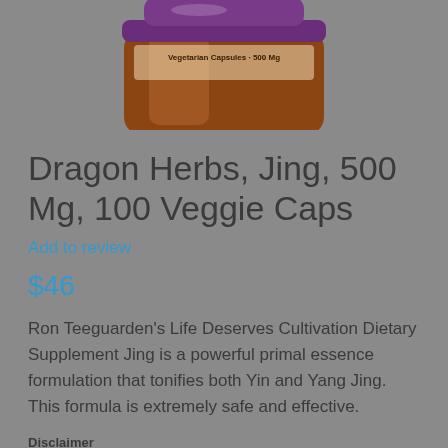[Figure (photo): Partial view of a brown supplement bottle with a purple cap, cropped showing mostly the top portion of the bottle. Label reads 'Vegetarian Capsules 500 Mg'.]
Dragon Herbs, Jing, 500 Mg, 100 Veggie Caps
Add to review
$46
Ron Teeguarden's Life Deserves Cultivation Dietary Supplement Jing is a powerful primal essence formulation that tonifies both Yin and Yang Jing. This formula is extremely safe and effective.
Disclaimer
While VITAMINSUK strives to ensure the accuracy of its product images and information, some manufacturing changes to packaging and/or